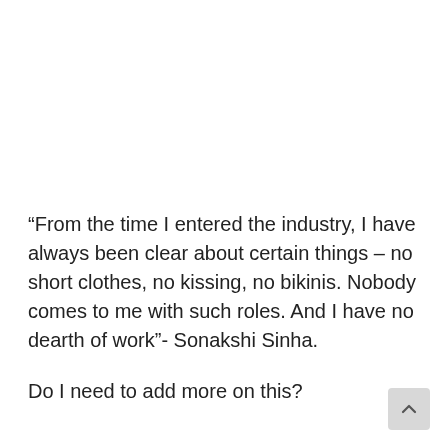“From the time I entered the industry, I have always been clear about certain things – no short clothes, no kissing, no bikinis. Nobody comes to me with such roles. And I have no dearth of work”- Sonakshi Sinha.
Do I need to add more on this?